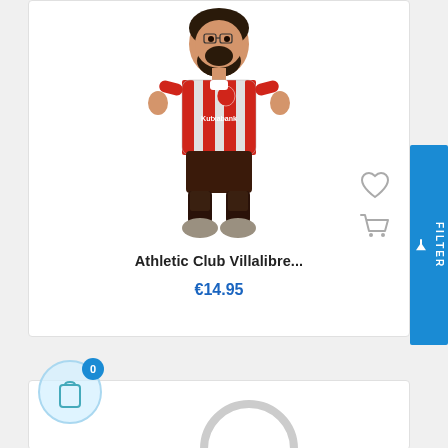[Figure (illustration): 3D cartoon figurine of Athletic Club Villalibre football player wearing red and white striped jersey with Kutxabank sponsor and dark shorts]
Athletic Club Villalibre...
€14.95
[Figure (illustration): Shopping bag icon with badge showing 0]
[Figure (illustration): Partial ring/keychain item visible at bottom of page]